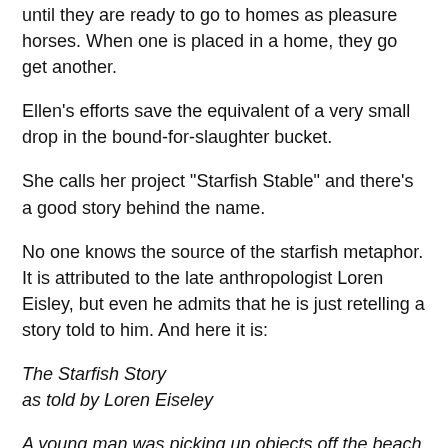until they are ready to go to homes as pleasure horses. When one is placed in a home, they go get another.
Ellen's efforts save the equivalent of a very small drop in the bound-for-slaughter bucket.
She calls her project "Starfish Stable" and there's a good story behind the name.
No one knows the source of the starfish metaphor. It is attributed to the late anthropologist Loren Eisley, but even he admits that he is just retelling a story told to him. And here it is:
The Starfish Story
as told by Loren Eiseley
A young man was picking up objects off the beach and tossing them out into the sea. A second man approached him, and saw that the objects were starfish.
'Why in the world are you throwing starfish into the water?'